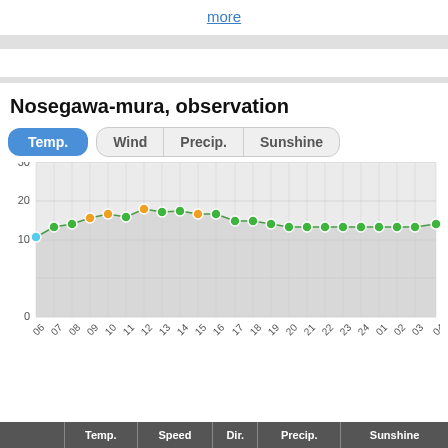more
Nosegawa-mura, observation
[Figure (line-chart): Temperature observation chart]
|  | Temp. | Speed | Dir. | Precip. | Sunshine |
| --- | --- | --- | --- | --- | --- |